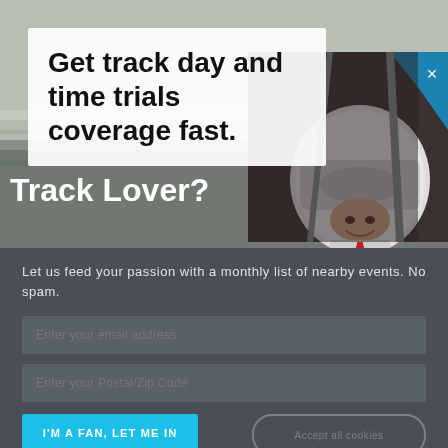[Figure (photo): Background showing a racetrack scene with a white card overlay on the top-left showing the text 'Get track day and time trials coverage fast.' and on the right side a photo of a woman in a racing helmet and suit inside a race car cockpit. A blue diagonal stripe is visible in the upper right corner photo area.]
Get track day and time trials coverage fast.
Track Lover?
Let us feed your passion with a monthly list of nearby events. No spam.
Enter your email address
Enter your Postal/Zip Code
I'M A FAN, LET ME IN
Accept all cookies